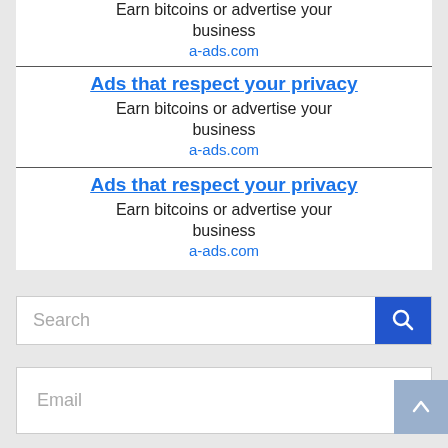Earn bitcoins or advertise your business
a-ads.com
Ads that respect your privacy
Earn bitcoins or advertise your business
a-ads.com
Ads that respect your privacy
Earn bitcoins or advertise your business
a-ads.com
[Figure (screenshot): Search bar with blue search button containing a magnifying glass icon]
[Figure (screenshot): Email input field with scroll-to-top button in bottom right corner]